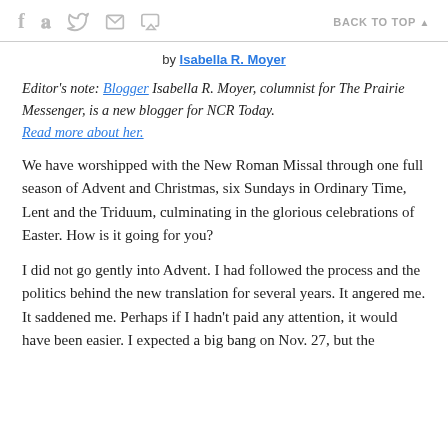f  [twitter]  [print]  [mail]   BACK TO TOP ▲
by Isabella R. Moyer
Editor's note: Blogger Isabella R. Moyer, columnist for The Prairie Messenger, is a new blogger for NCR Today. Read more about her.
We have worshipped with the New Roman Missal through one full season of Advent and Christmas, six Sundays in Ordinary Time, Lent and the Triduum, culminating in the glorious celebrations of Easter. How is it going for you?
I did not go gently into Advent. I had followed the process and the politics behind the new translation for several years. It angered me. It saddened me. Perhaps if I hadn't paid any attention, it would have been easier. I expected a big bang on Nov. 27, but the